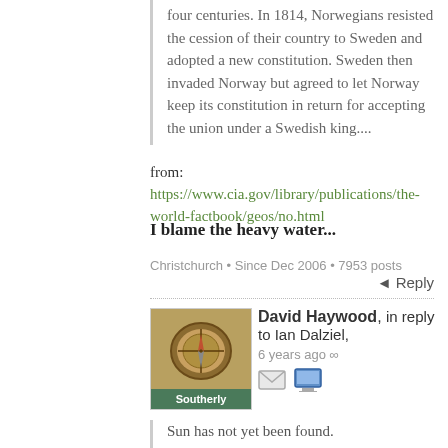four centuries. In 1814, Norwegians resisted the cession of their country to Sweden and adopted a new constitution. Sweden then invaded Norway but agreed to let Norway keep its constitution in return for accepting the union under a Swedish king....
from: https://www.cia.gov/library/publications/the-world-factbook/geos/no.html
I blame the heavy water...
Christchurch • Since Dec 2006 • 7953 posts
Reply
David Haywood, in reply to Ian Dalziel, 6 years ago
[Figure (illustration): Avatar image showing a compass/sundial on green background with 'Southerly' label]
Sun has not yet been found.
The fog sweeps through forest down to the river
Well that certainly makes autumn sound like the pleasantest season. I admit to feeling quite spiritually uplifted after reading these words...